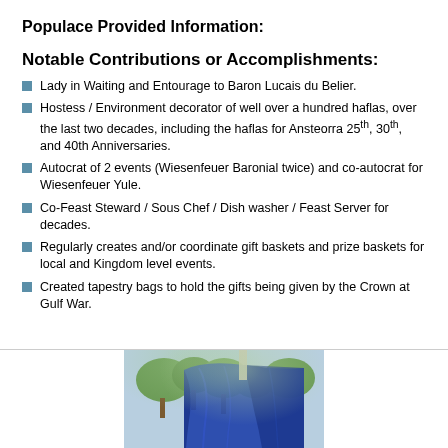Populace Provided Information:
Notable Contributions or Accomplishments:
Lady in Waiting and Entourage to Baron Lucais du Belier.
Hostess / Environment decorator of well over a hundred haflas, over the last two decades, including the haflas for Ansteorra 25th, 30th, and 40th Anniversaries.
Autocrat of 2 events (Wiesenfeuer Baronial twice) and co-autocrat for Wiesenfeuer Yule.
Co-Feast Steward / Sous Chef / Dish washer / Feast Server for decades.
Regularly creates and/or coordinate gift baskets and prize baskets for local and Kingdom level events.
Created tapestry bags to hold the gifts being given by the Crown at Gulf War.
[Figure (photo): A partial photo showing blue fabric/cloth draped over something, with trees visible in the background. The image is cropped at the bottom of the page.]